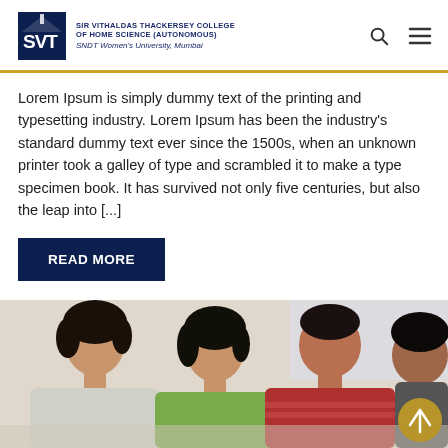SIR VITHALDAS THACKERSEY COLLEGE OF HOME SCIENCE (AUTONOMOUS) SNDT Women's University, Mumbai
Lorem Ipsum is simply dummy text of the printing and typesetting industry. Lorem Ipsum has been the industry's standard dummy text ever since the 1500s, when an unknown printer took a galley of type and scrambled it to make a type specimen book. It has survived not only five centuries, but also the leap into [...]
READ MORE
[Figure (photo): Group of young students studying together, looking down at materials on a table, smiling]